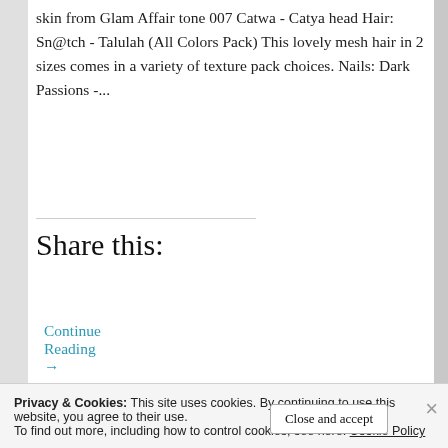skin from Glam Affair tone 007 Catwa - Catya head Hair: Sn@tch - Talulah (All Colors Pack) This lovely mesh hair in 2 sizes comes in a variety of texture pack choices. Nails: Dark Passions -...
Continue Reading →
Share this:
[Figure (other): Tweet button (blue) and Post button (dark/black) for sharing]
[Figure (other): Like button with star icon, followed by 6 blogger avatar thumbnails]
6 bloggers like this.
Privacy & Cookies: This site uses cookies. By continuing to use this website, you agree to their use.
To find out more, including how to control cookies, see here: Cookie Policy